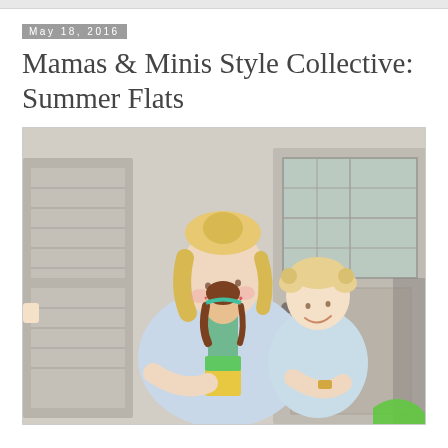May 18, 2016
Mamas & Minis Style Collective: Summer Flats
[Figure (photo): A smiling blonde woman with hair in a bun holds a toddler girl with pigtails. Both are dressed in light blue. The toddler holds a brown-haired doll wearing a colorful outfit. They stand in front of grey wooden shutters and a windowed door.]